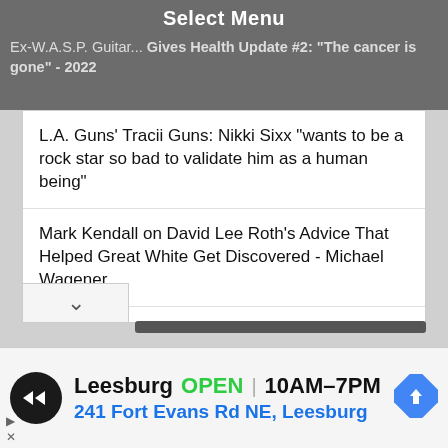Select Menu
Ex-W.A.S.P. Guitar... Gives Health Update #2: "The cancer is gone" - 2022
L.A. Guns' Tracii Guns: Nikki Sixx "wants to be a rock star so bad to validate him as a human being"
Mark Kendall on David Lee Roth's Advice That Helped Great White Get Discovered - Michael Wagener
[Figure (logo): Fibits logo: cartoon frog with hat alongside dotted text '.......Fibits' and tagline 'full in bloom internet shopping']
Leesburg  OPEN | 10AM–7PM  241 Fort Evans Rd NE, Leesburg